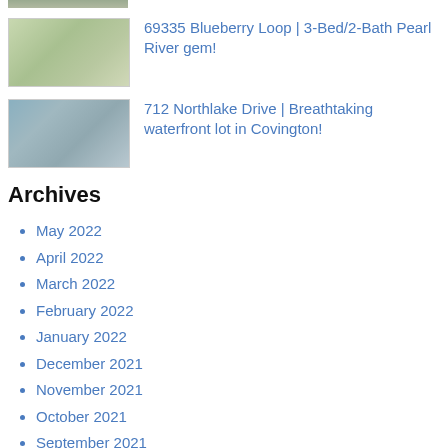[Figure (photo): Partial view of a property photo at top of page (cropped)]
[Figure (photo): Exterior photo of a single-story house with trees and grass at 69335 Blueberry Loop, Pearl River]
69335 Blueberry Loop | 3-Bed/2-Bath Pearl River gem!
[Figure (photo): Photo of a waterfront lot with trees and water view at 712 Northlake Drive, Covington]
712 Northlake Drive | Breathtaking waterfront lot in Covington!
Archives
May 2022
April 2022
March 2022
February 2022
January 2022
December 2021
November 2021
October 2021
September 2021
August 2021